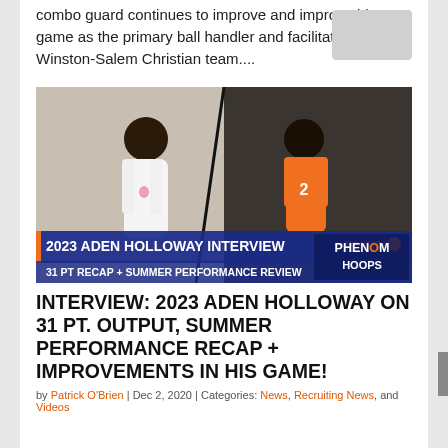combo guard continues to improve and improve his game as the primary ball handler and facilitator for this Winston-Salem Christian team....
[Figure (photo): Phenom Hoops branded image showing two basketball players side by side with overlay text: '2023 ADEN HOLLOWAY INTERVIEW – 31 PT RECAP + SUMMER PERFORMANCE REVIEW' and Phenom Hoops logo]
INTERVIEW: 2023 ADEN HOLLOWAY ON 31 PT. OUTPUT, SUMMER PERFORMANCE RECAP + IMPROVEMENTS IN HIS GAME!
by Patrick O'Brien | Dec 2, 2020 | Categories: News, Recruiting News, and Videos